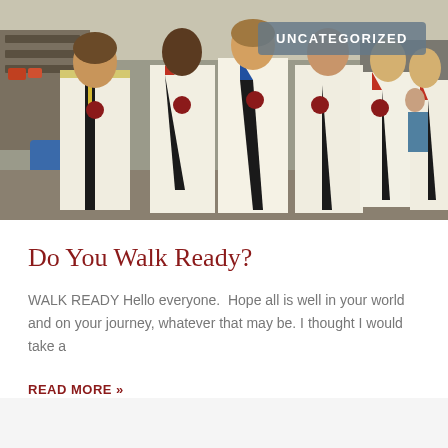[Figure (photo): Group photo of six people wearing white martial arts uniforms (gi) with black belts and colored lapels, standing together indoors at what appears to be a martial arts event or expo. Shelves and equipment visible in the background.]
UNCATEGORIZED
Do You Walk Ready?
WALK READY Hello everyone.  Hope all is well in your world and on your journey, whatever that may be. I thought I would take a
READ MORE »